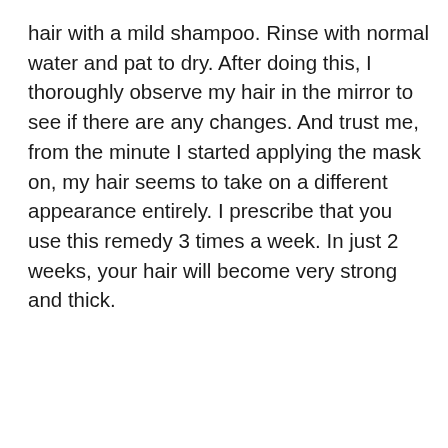hair with a mild shampoo. Rinse with normal water and pat to dry. After doing this, I thoroughly observe my hair in the mirror to see if there are any changes. And trust me, from the minute I started applying the mask on, my hair seems to take on a different appearance entirely. I prescribe that you use this remedy 3 times a week. In just 2 weeks, your hair will become very strong and thick.